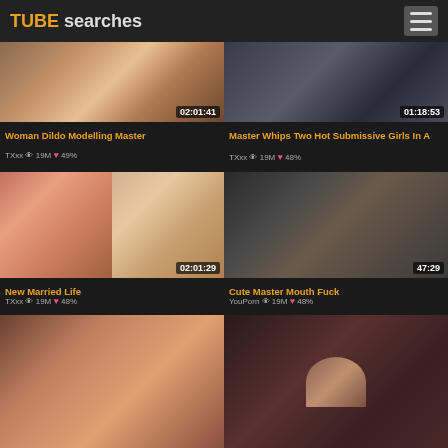TUBE searches
[Figure (screenshot): Video thumbnail for Woman Dildo Modelling Master, duration 02:01:41]
Woman Dildo Modelling Master
TXxx 👁 19M ♥ 49%
[Figure (screenshot): Video thumbnail for Master Whips Two Hot Submissive Girls In A, duration 01:18:53]
Master Whips Two Hot Submissive Girls In A
TXxx 👁 19M ♥ 48%
[Figure (screenshot): Video thumbnail for New Married Life, duration 02:01:29]
New Married Life
TXxx 👁 19M ♥ 48%
[Figure (screenshot): Video thumbnail for Cute Master Mouth Fuck, duration 47:29]
Cute Master Mouth Fuck
YouPorn 👁 19M ♥ 48%
[Figure (screenshot): Video thumbnail, partially visible at bottom of page]
[Figure (screenshot): Video thumbnail, partially visible at bottom right of page]